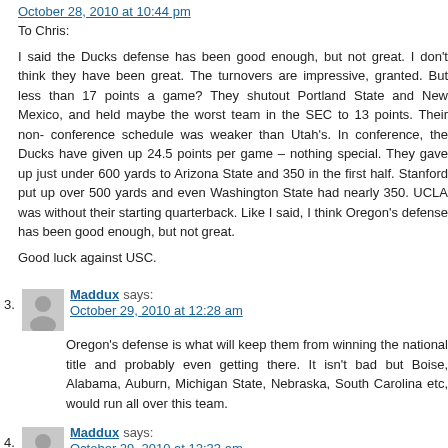October 28, 2010 at 10:44 pm
To Chris:
I said the Ducks defense has been good enough, but not great. I don't think they have been great. The turnovers are impressive, granted. But less than 17 points a game? They shutout Portland State and New Mexico, and held maybe the worst team in the SEC to 13 points. Their non-conference schedule was weaker than Utah's. In conference, the Ducks have given up 24.5 points per game – nothing special. They gave up just under 600 yards to Arizona State and 350 in the first half. Stanford put up over 500 yards and even Washington State had nearly 350. UCLA was without their starting quarterback. Like I said, I think Oregon's defense has been good enough, but not great.
Good luck against USC.
Maddux says:
October 29, 2010 at 12:28 am
Oregon's defense is what will keep them from winning the national title and probably even getting there. It isn't bad but Boise, Alabama, Auburn, Michigan State, Nebraska, South Carolina etc, would run all over this team.
Maddux says:
October 29, 2010 at 12:33 am